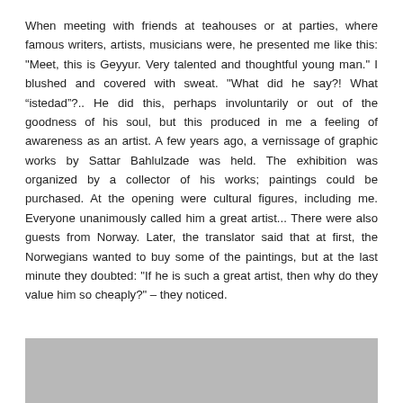When meeting with friends at teahouses or at parties, where famous writers, artists, musicians were, he presented me like this: "Meet, this is Geyyur. Very talented and thoughtful young man." I blushed and covered with sweat. "What did he say?! What “istedad”?.. He did this, perhaps involuntarily or out of the goodness of his soul, but this produced in me a feeling of awareness as an artist. A few years ago, a vernissage of graphic works by Sattar Bahlulzade was held. The exhibition was organized by a collector of his works; paintings could be purchased. At the opening were cultural figures, including me. Everyone unanimously called him a great artist... There were also guests from Norway. Later, the translator said that at first, the Norwegians wanted to buy some of the paintings, but at the last minute they doubted: "If he is such a great artist, then why do they value him so cheaply?" – they noticed.
[Figure (photo): A gray rectangular image placeholder at the bottom of the page.]